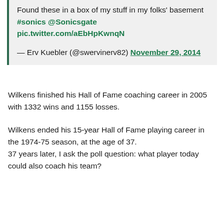Found these in a box of my stuff in my folks' basement #sonics @Sonicsgate pic.twitter.com/aEbHpKwnqN

— Erv Kuebler (@swervinerv82) November 29, 2014
Wilkens finished his Hall of Fame coaching career in 2005 with 1332 wins and 1155 losses.
Wilkens ended his 15-year Hall of Fame playing career in the 1974-75 season, at the age of 37.
37 years later, I ask the poll question: what player today could also coach his team?